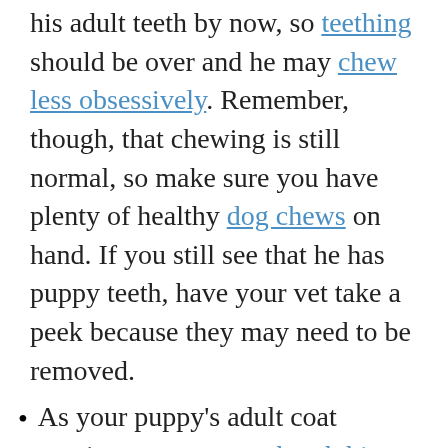his adult teeth by now, so teething should be over and he may chew less obsessively. Remember, though, that chewing is still normal, so make sure you have plenty of healthy dog chews on hand. If you still see that he has puppy teeth, have your vet take a peek because they may need to be removed.
As your puppy's adult coat continues to emerge, brush him every day to avoid matting as he starts to shed his puppy coat. Also, trim his nails weekly.
6-Month Old Puppy Behavioral Development